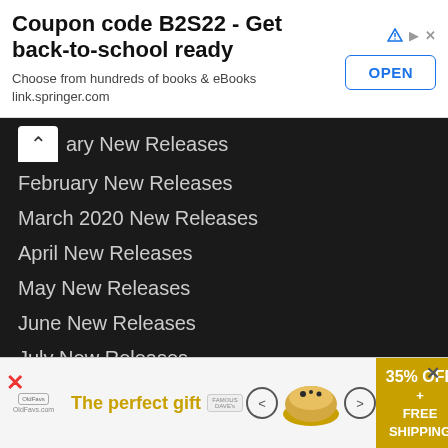[Figure (infographic): Top advertisement banner: 'Coupon code B2S22 - Get back-to-school ready. Choose from hundreds of books & eBooks link.springer.com' with an OPEN button and ad icons.]
ary New Releases
February New Releases
March 2020 New Releases
April New Releases
May New Releases
June New Releases
July New Releases
August New Releases
September New Releases
October New Releases
November New Releases
December New Releases
[Figure (infographic): Bottom advertisement: 'The perfect gift' with arrows, food bowl image, and '35% OFF + FREE SHIPPING' promo badge in gold/yellow.]